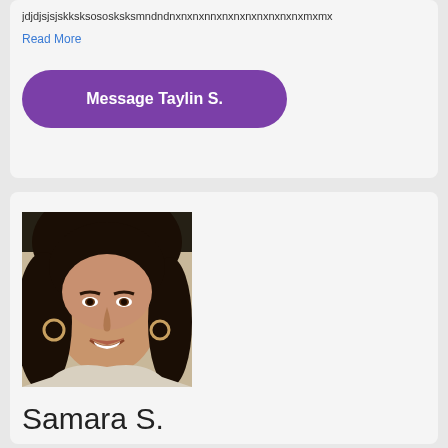jdjdjsjsjskksksososksksmndndnxnxnxnnxnxnxnxnxnxnxnxmxmx…
Read More
Message Taylin S.
[Figure (photo): Profile photo of a woman with dark hair, smiling, wearing hoop earrings]
Samara S.